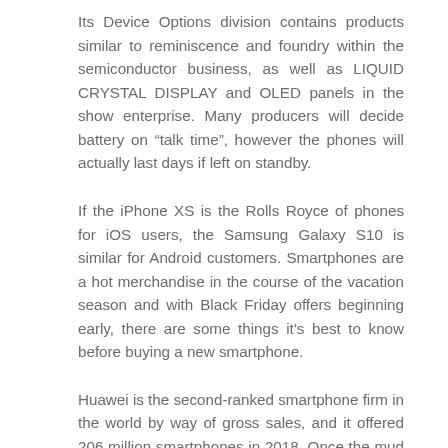Its Device Options division contains products similar to reminiscence and foundry within the semiconductor business, as well as LIQUID CRYSTAL DISPLAY and OLED panels in the show enterprise. Many producers will decide battery on “talk time”, however the phones will actually last days if left on standby.
If the iPhone XS is the Rolls Royce of phones for iOS users, the Samsung Galaxy S10 is similar for Android customers. Smartphones are a hot merchandise in the course of the vacation season and with Black Friday offers beginning early, there are some things it’s best to know before buying a new smartphone.
Huawei is the second-ranked smartphone firm in the world by way of gross sales, and it offered 206 million smartphones in 2018. Once the mud settles off the Samsung Galaxy A50, it’s clear to everybody that the